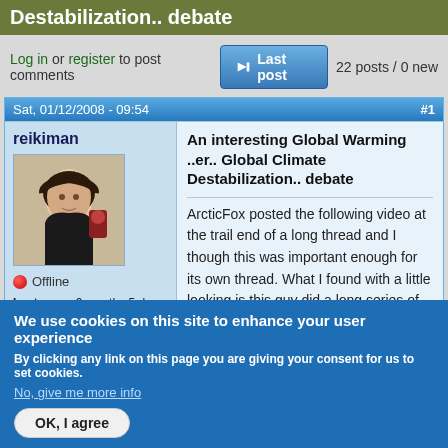Destabilization.. debate
Log in or register to post comments   Last post   22 posts / 0 new
Sat, 01/12/2008 - 09:54  #1
reikiman
[Figure (photo): User avatar photo of reikiman, a person with dark hair]
Offline
Last seen: 9 months 5 days ago
Joined: Sunday, November 19, 2006 - 17:52
An interesting Global Warming ..er.. Global Climate Destabilization.. debate
ArcticFox posted the following video at the trail end of a long thread and I though this was important enough for its own thread. What I found with a little looking is this guy did a long series of videos covering this from all sorts of angles, not just this one socratic style debate.
We use cookies on this site to enhance your user experience
By clicking any link on this page you are giving your consent for us to set cookies.
No, give me more info
OK, I agree